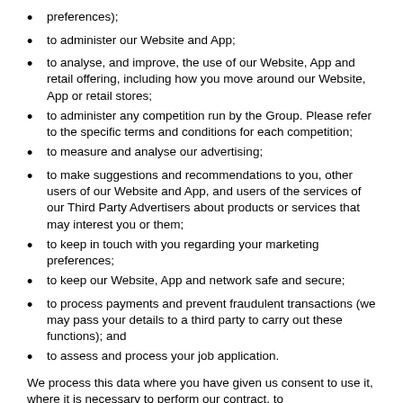preferences);
to administer our Website and App;
to analyse, and improve, the use of our Website, App and retail offering, including how you move around our Website, App or retail stores;
to administer any competition run by the Group. Please refer to the specific terms and conditions for each competition;
to measure and analyse our advertising;
to make suggestions and recommendations to you, other users of our Website and App, and users of the services of our Third Party Advertisers about products or services that may interest you or them;
to keep in touch with you regarding your marketing preferences;
to keep our Website, App and network safe and secure;
to process payments and prevent fraudulent transactions (we may pass your details to a third party to carry out these functions); and
to assess and process your job application.
We process this data where you have given us consent to use it, where it is necessary to perform our contract, to